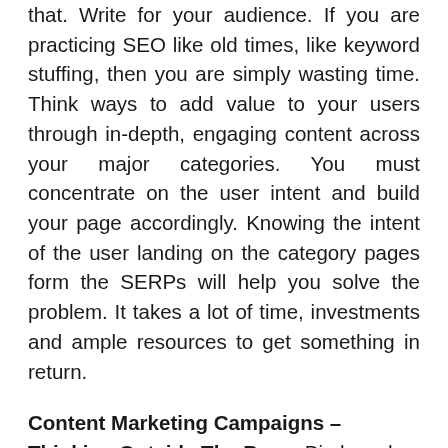that. Write for your audience. If you are practicing SEO like old times, like keyword stuffing, then you are simply wasting time. Think ways to add value to your users through in-depth, engaging content across your major categories. You must concentrate on the user intent and build your page accordingly. Knowing the intent of the user landing on the category pages form the SERPs will help you solve the problem. It takes a lot of time, investments and ample resources to get something in return.
Content Marketing Campaigns – Thinking Outside The Box – Big brands need to pass